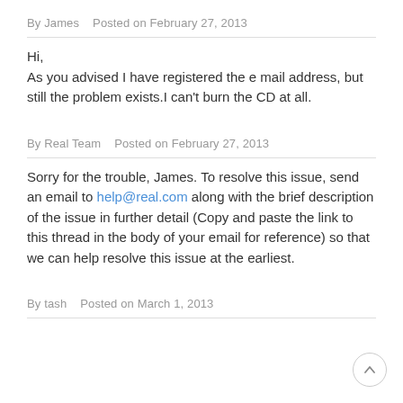By James   Posted on February 27, 2013
Hi,
As you advised I have registered the e mail address, but still the problem exists.I can't burn the CD at all.
By Real Team   Posted on February 27, 2013
Sorry for the trouble, James. To resolve this issue, send an email to help@real.com along with the brief description of the issue in further detail (Copy and paste the link to this thread in the body of your email for reference) so that we can help resolve this issue at the earliest.
By tash   Posted on March 1, 2013